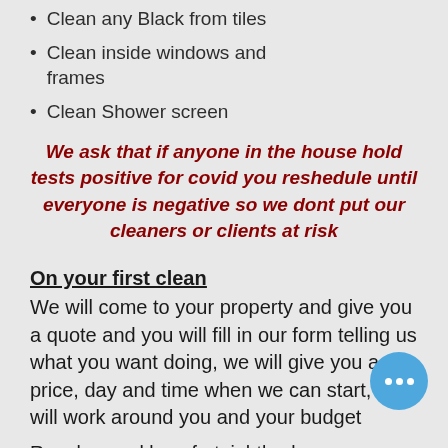Clean any Black from tiles
Clean inside windows and frames
Clean Shower screen
We ask that if anyone in the house hold tests positive for covid you reshedule until everyone is negative so we dont put our cleaners or clients at risk
On your first clean
We will come to your property and give you a quote and you will fill in our form telling us what you want doing, we will give you a price, day and time when we can start, we will work around you and your budget
Regular weekly or fortnightly cleans available
We supply all cleaning equipment